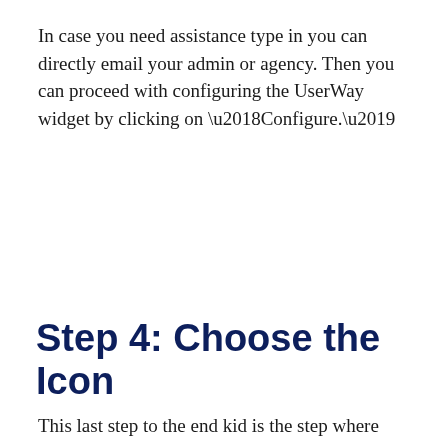In case you need assistance type in you can directly email your admin or agency. Then you can proceed with configuring the UserWay widget by clicking on ‘Configure.’
Step 4: Choose the Icon
This last step to the end kid is the step where